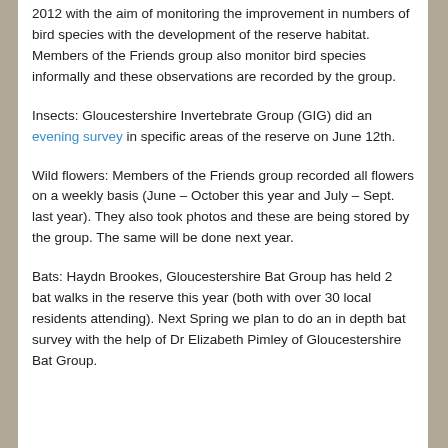2012 with the aim of monitoring the improvement in numbers of bird species with the development of the reserve habitat. Members of the Friends group also monitor bird species informally and these observations are recorded by the group.
Insects: Gloucestershire Invertebrate Group (GIG) did an evening survey in specific areas of the reserve on June 12th.
Wild flowers: Members of the Friends group recorded all flowers on a weekly basis (June – October this year and July – Sept. last year). They also took photos and these are being stored by the group. The same will be done next year.
Bats: Haydn Brookes, Gloucestershire Bat Group has held 2 bat walks in the reserve this year (both with over 30 local residents attending). Next Spring we plan to do an in depth bat survey with the help of Dr Elizabeth Pimley of Gloucestershire Bat Group.